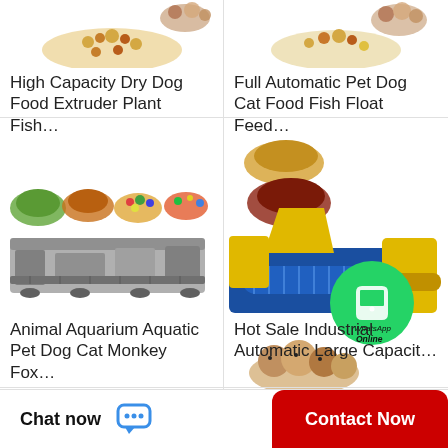[Figure (photo): Product listing image for High Capacity Dry Dog Food Extruder Plant Fish food machine with pet food pellets shown at top]
High Capacity Dry Dog Food Extruder Plant Fish…
[Figure (photo): Product listing image for Full Automatic Pet Dog Cat Food Fish Float Feed machine with animals shown]
Full Automatic Pet Dog Cat Food Fish Float Feed…
[Figure (photo): Animal Aquarium Aquatic Pet Dog Cat Monkey Fox food machine showing industrial extruder and colorful pet food pellets]
Animal Aquarium Aquatic Pet Dog Cat Monkey Fox…
[Figure (photo): Hot Sale Industrial Automatic Large Capacity pet food extruder machine in blue and yellow with pet food samples and guinea pigs, WhatsApp Online badge overlay]
Hot Sale Industrial Automatic Large Capacit…
Chat now
Contact Now